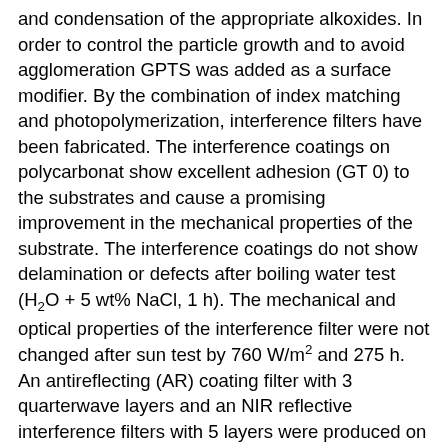and condensation of the appropriate alkoxides. In order to control the particle growth and to avoid agglomeration GPTS was added as a surface modifier. By the combination of index matching and photopolymerization, interference filters have been fabricated. The interference coatings on polycarbonat show excellent adhesion (GT 0) to the substrates and cause a promising improvement in the mechanical properties of the substrate. The interference coatings do not show delamination or defects after boiling water test (H2O + 5 wt% NaCl, 1 h). The mechanical and optical properties of the interference filter were not changed after sun test by 760 W/m2 and 275 h. An antireflecting (AR) coating filter with 3 quarterwave layers and an NIR reflective interference filters with 5 layers were produced on float glass substrates. Each layer was deposited by dip- or spin-coating with subsequent UV-curing with an energy density of 2.5 J/cm2, and the layer stack was thermally densified at 450°C for 10 min. 80 cycles of rubber test without damage could be obtained. The mechanical and optical properties of the interference filters did not change after sun test with 760 W/m2 for 320 h.